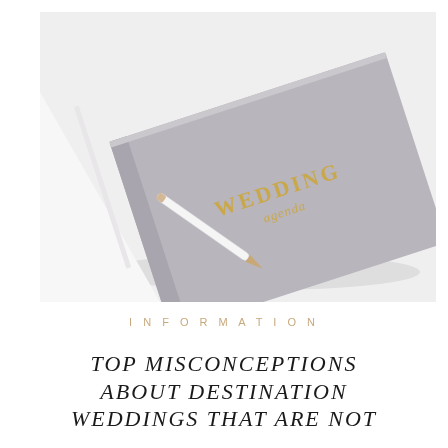[Figure (photo): A gray linen-covered wedding agenda book with gold foil text reading 'WEDDING agenda', and a white pen with gold tip resting diagonally on it, photographed on a white background from above at an angle.]
INFORMATION
TOP MISCONCEPTIONS ABOUT DESTINATION WEDDINGS THAT ARE NOT